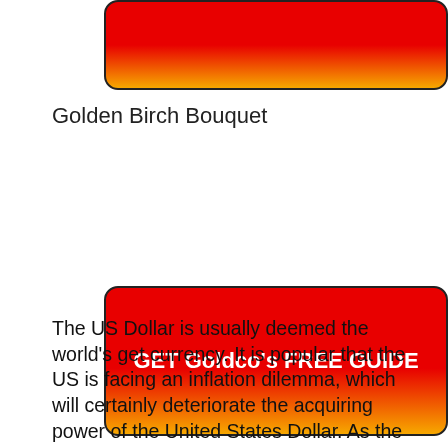[Figure (other): Red to gold gradient button/banner at top of page, partially cropped]
Golden Birch Bouquet
[Figure (other): Red to gold gradient button with white bold text reading GET Goldco's FREE GUIDE]
The US Dollar is usually deemed the world’s get currency. It is popular that the US is facing an inflation dilemma, which will certainly deteriorate the acquiring power of the United States Dollar. As the power of the book currency reduces, individuals not just in the USA, but around the globe, are most likely to group to the security of gold and